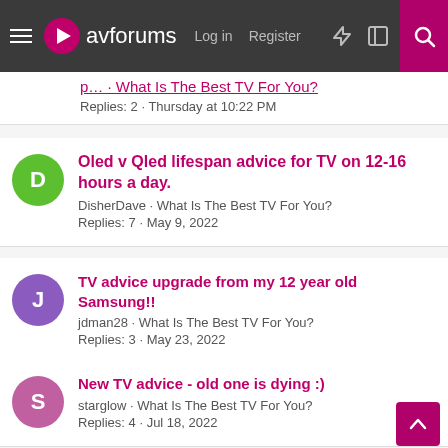avforums — Log in  Register
p... · What Is The Best TV For You? · Replies: 2 · Thursday at 10:22 PM
Oled v Qled lifespan advice for TV on 12-16 hours a day.
DisherDave · What Is The Best TV For You?
Replies: 7 · May 9, 2022
TV advice upgrade from my 12 year old Samsung!!
jdman28 · What Is The Best TV For You?
Replies: 3 · May 23, 2022
New TV advice - old one is dying :)
starglow · What Is The Best TV For You?
Replies: 4 · Jul 18, 2022
Share: